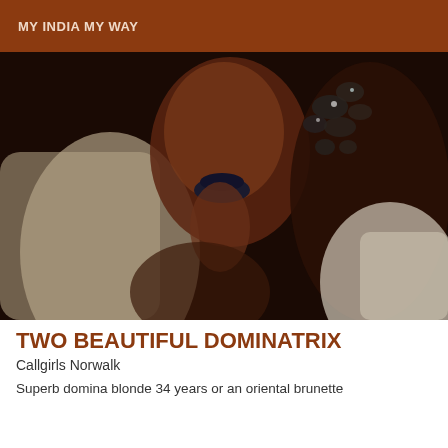MY INDIA MY WAY
[Figure (photo): Close-up photo of a woman with dark lipstick and glowing blue butterfly earrings/accessories, wearing a white top, in a dark moody setting with another person partially visible]
TWO BEAUTIFUL DOMINATRIX
Callgirls Norwalk
Superb domina blonde 34 years or an oriental brunette